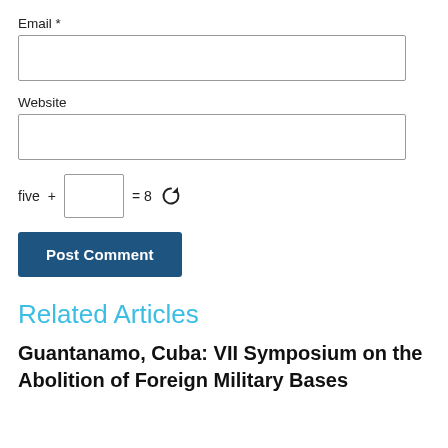Email *
[Figure (other): Email input text field (empty, with border)]
Website
[Figure (other): Website input text field (empty, with border)]
five + [ ] = 8  (with refresh icon)
[Figure (other): Post Comment button (dark blue)]
Related Articles
Guantanamo, Cuba: VII Symposium on the Abolition of Foreign Military Bases